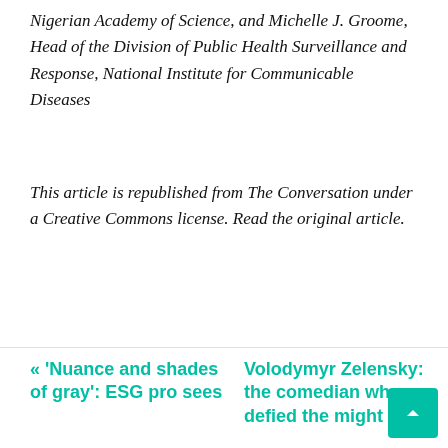Nigerian Academy of Science, and Michelle J. Groome, Head of the Division of Public Health Surveillance and Response, National Institute for Communicable Diseases
This article is republished from The Conversation under a Creative Commons license. Read the original article.
Source link
[Figure (other): Social media share buttons: Facebook, Twitter, Email, LinkedIn, Telegram, Pinterest]
« 'Nuance and shades of gray': ESG pro sees
Volodymyr Zelensky: the comedian who defied the might of